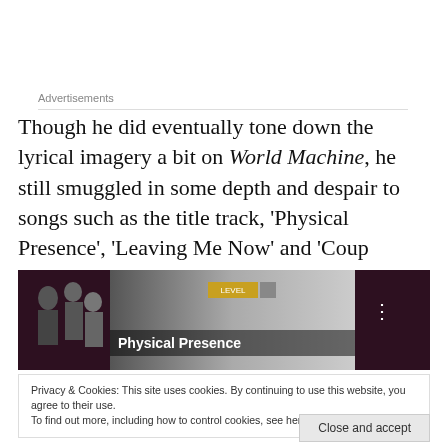Advertisements
Though he did eventually tone down the lyrical imagery a bit on World Machine, he still smuggled in some depth and despair to songs such as the title track, 'Physical Presence', 'Leaving Me Now' and 'Coup D'Etat'.
[Figure (screenshot): Embedded video thumbnail showing 'Physical Presence' with band photo on left, video title overlay in middle, and YouTube-style controls]
Privacy & Cookies: This site uses cookies. By continuing to use this website, you agree to their use. To find out more, including how to control cookies, see here: Cookie Policy
Close and accept